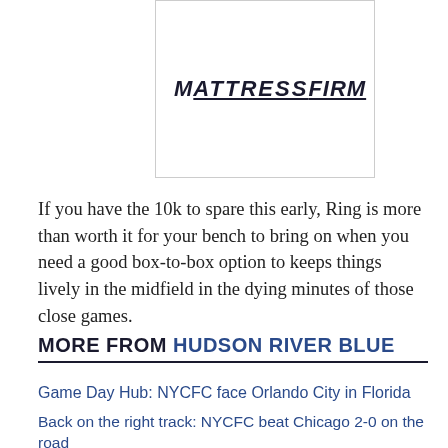[Figure (logo): Mattress Firm logo in bold italic text inside a rectangular border]
If you have the 10k to spare this early, Ring is more than worth it for your bench to bring on when you need a good box-to-box option to keeps things lively in the midfield in the dying minutes of those close games.
MORE FROM HUDSON RIVER BLUE
Game Day Hub: NYCFC face Orlando City in Florida
Back on the right track: NYCFC beat Chicago 2-0 on the road
Game Day Hub: NYCFC play Chicago Fire at SeatGeek Stadium
New York City FC claim Matías Pellegrini from waivers